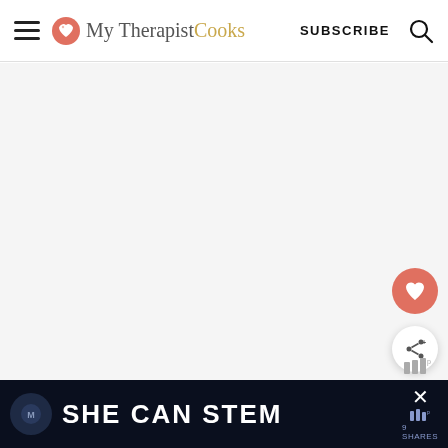My Therapist Cooks — SUBSCRIBE
[Figure (screenshot): Large blank/white content area of a recipe blog page]
WHAT'S NEXT → Bok Choy Farro Salad ...
SHE CAN STEM